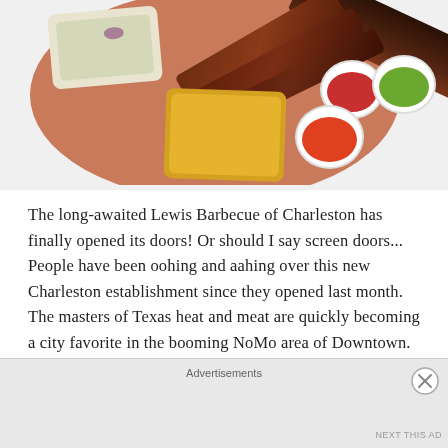[Figure (photo): Overhead photo of a BBQ platter on a wooden table showing sliced brisket, ribs, coleslaw, mac and cheese, and three dipping sauces (red, orange-red, and green).]
The long-awaited Lewis Barbecue of Charleston has finally opened its doors! Or should I say screen doors... People have been oohing and aahing over this new Charleston establishment since they opened last month. The masters of Texas heat and meat are quickly becoming a city favorite in the booming NoMo area of Downtown. The famous [...]
Advertisements